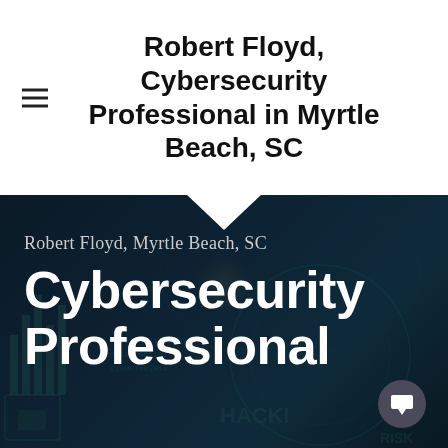Robert Floyd, Cybersecurity Professional in Myrtle Beach, SC
[Figure (screenshot): Dark cybersecurity-themed hero image with digital world map, binary code, lock/circuit graphics, and bar chart silhouettes. Text overlaid: 'Robert Floyd, Myrtle Beach, SC' and 'Cybersecurity Professional' in large white bold font. A chat bubble icon appears in the bottom right.]